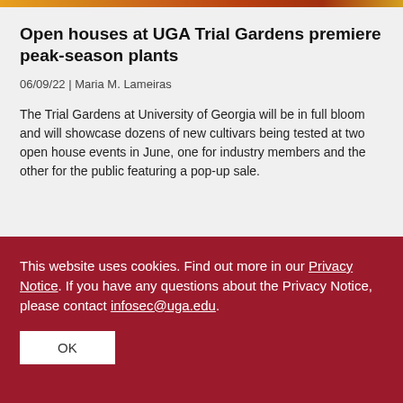[Figure (photo): Colorful flower/garden image strip at top of page]
Open houses at UGA Trial Gardens premiere peak-season plants
06/09/22 | Maria M. Lameiras
The Trial Gardens at University of Georgia will be in full bloom and will showcase dozens of new cultivars being tested at two open house events in June, one for industry members and the other for the public featuring a pop-up sale.
This website uses cookies. Find out more in our Privacy Notice. If you have any questions about the Privacy Notice, please contact infosec@uga.edu.